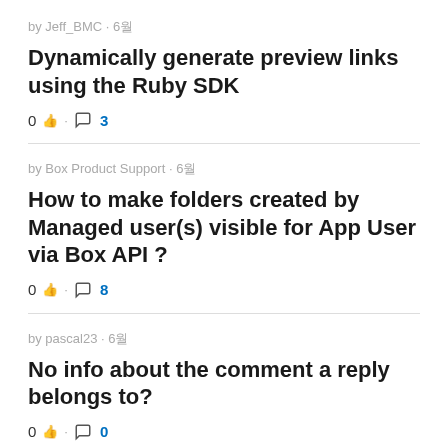by Jeff_BMC · 6월
Dynamically generate preview links using the Ruby SDK
0 · 💬 3
by Box Product Support · 6월
How to make folders created by Managed user(s) visible for App User via Box API ?
0 · 💬 8
by pascal23 · 6월
No info about the comment a reply belongs to?
0 · 💬 0